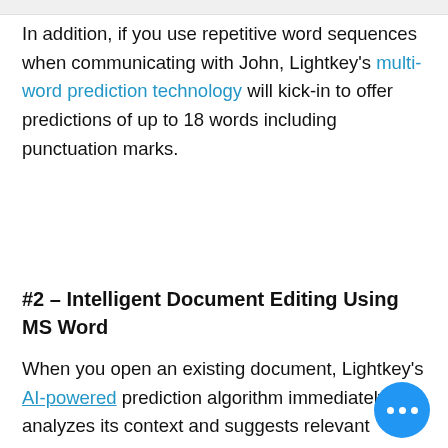In addition, if you use repetitive word sequences when communicating with John, Lightkey's multi-word prediction technology will kick-in to offer predictions of up to 18 words including punctuation marks.
#2 – Intelligent Document Editing Using MS Word
When you open an existing document, Lightkey's AI-powered prediction algorithm immediately analyzes its context and suggests relevant predictions based on the